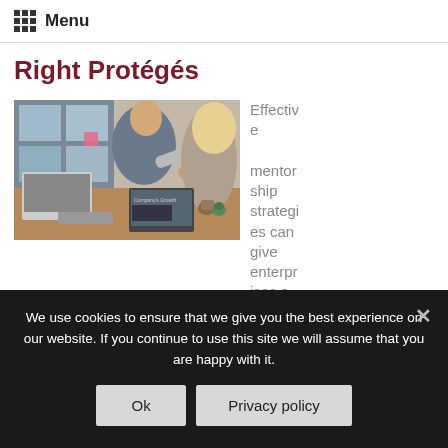Menu
Right Protégés
[Figure (photo): Two people shaking hands across a desk in an office setting, with laptops and plants on the table.]
Effective mentorship strategies can give enterprises a
We use cookies to ensure that we give you the best experience on our website. If you continue to use this site we will assume that you are happy with it.